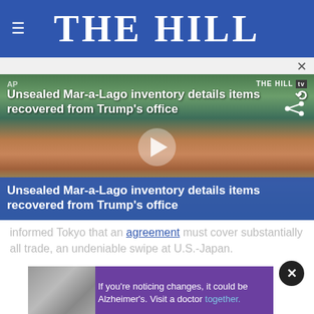THE HILL
[Figure (screenshot): Video thumbnail showing aerial view of Mar-a-Lago estate with overlay title text 'Unsealed Mar-a-Lago inventory details items recovered from Trump's office' and a play button in center. Bottom blue bar repeats the title. AP watermark top left, THE HILL tv logo top right.]
...informed Tokyo that an agreement must cover substantially all trade, an undeniable swipe at U.S.-Japan.
Lighth[izer]... that's why he voiced frustration last week about how free